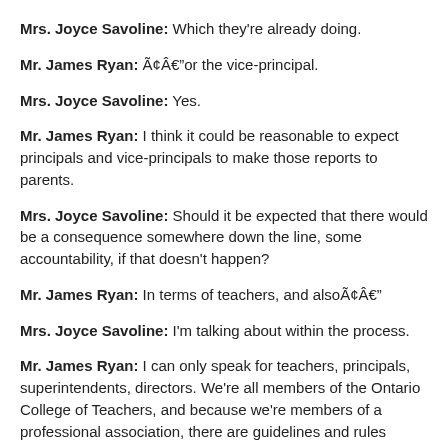Mrs. Joyce Savoline: Which they're already doing.
Mr. James Ryan: Ã¢Âor the vice-principal.
Mrs. Joyce Savoline: Yes.
Mr. James Ryan: I think it could be reasonable to expect principals and vice-principals to make those reports to parents.
Mrs. Joyce Savoline: Should it be expected that there would be a consequence somewhere down the line, some accountability, if that doesn't happen?
Mr. James Ryan: In terms of teachers, and alsoÃ¢Â
Mrs. Joyce Savoline: I'm talking about within the process.
Mr. James Ryan: I can only speak for teachers, principals, superintendents, directors. We're all members of the Ontario College of Teachers, and because we're members of a professional association, there are guidelines and rules